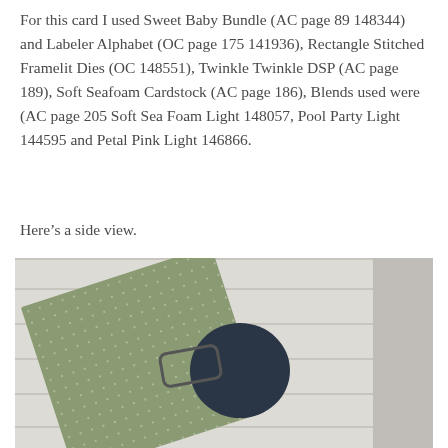For this card I used Sweet Baby Bundle (AC page 89 148344) and Labeler Alphabet (OC page 175 141936), Rectangle Stitched Framelit Dies (OC 148551), Twinkle Twinkle DSP (AC page 189), Soft Seafoam Cardstock (AC page 186), Blends used were (AC page 205 Soft Sea Foam Light 148057, Pool Party Light 144595 and Petal Pink Light 146866.
Here's a side view.
[Figure (photo): Side view photo of a handmade card propped against a white wood plank background. The card features a sage/olive green cardstock with white dots (Twinkle Twinkle DSP), and stamped images including a dark navy circular character and a robot/alien arm element.]